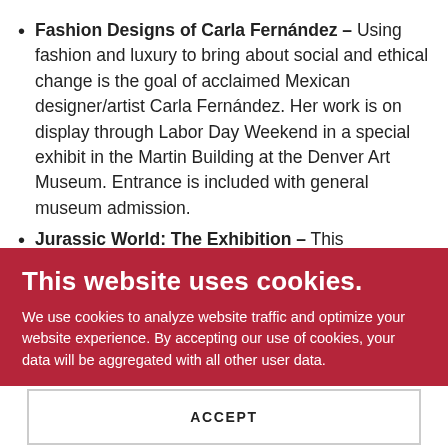Fashion Designs of Carla Fernández – Using fashion and luxury to bring about social and ethical change is the goal of acclaimed Mexican designer/artist Carla Fernández. Her work is on display through Labor Day Weekend in a special exhibit in the Martin Building at the Denver Art Museum. Entrance is included with general museum admission.
Jurassic World: The Exhibition – This
This website uses cookies.
We use cookies to analyze website traffic and optimize your website experience. By accepting our use of cookies, your data will be aggregated with all other user data.
ACCEPT